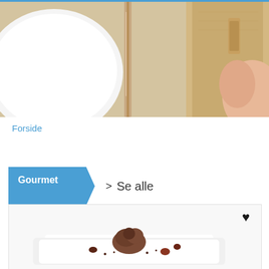[Figure (photo): Top-down view of a table setting with a white bowl, a knife, and a tan/brown notebook, with a hand visible at the right edge]
Forside
Gourmet  >  Se alle
[Figure (photo): Close-up of a white plate with a chocolate dessert (mousse or similar) garnished with small dark berries, with a heart icon in the top right corner]